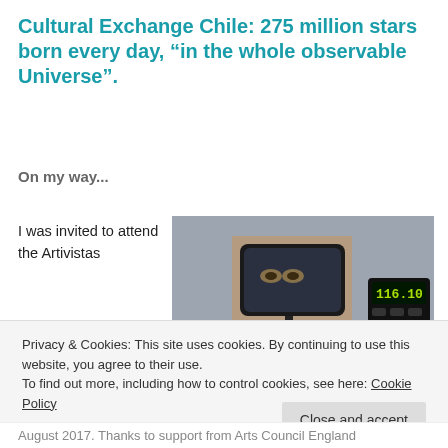Cultural Exchange Chile: 275 million stars born every day, “in the whole observable Universe”.
On my way...
I was invited to attend the Artivistas
[Figure (photo): Interior view from the front of a taxi/car showing a rearview mirror with a person's eyes visible, a dashcam, a phone mount, and a taxi meter reading 116.10, with city street visible through the windshield.]
Privacy & Cookies: This site uses cookies. By continuing to use this website, you agree to their use.
To find out more, including how to control cookies, see here: Cookie Policy
Close and accept
August 2017. Thanks to support from Arts Council England